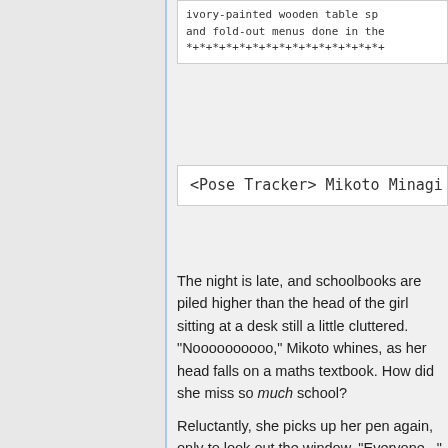ivory-painted wooden table sp and fold-out menus done in the *+*+*+*+*+*+*+*+*+*+*+*+*+*+*+
<Pose Tracker> Mikoto Minagi [C
The night is late, and schoolbooks are piled higher than the head of the girl sitting at a desk still a little cluttered. "Noooooooooo," Mikoto whines, as her head falls on a maths textbook. How did she miss so much school?
Reluctantly, she picks up her pen again, only to look out the window. "Everyone..." Her voice gains a gentler shade as she thinks of all the girls and boys out there, the many many people who helped her, and idly her artful hand